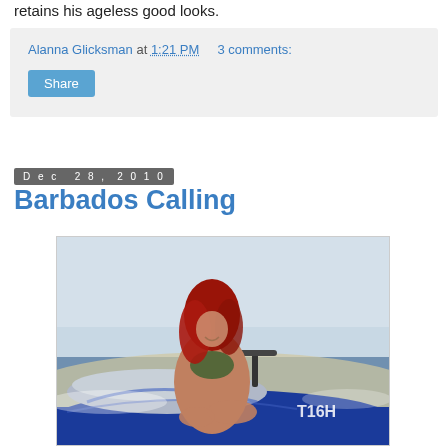retains his ageless good looks.
Alanna Glicksman at 1:21 PM   3 comments:
Share
Dec 28, 2010
Barbados Calling
[Figure (photo): A woman with long red hair wearing a bikini sitting on a blue jet ski (numbered T16H) on a beach with water in the background.]